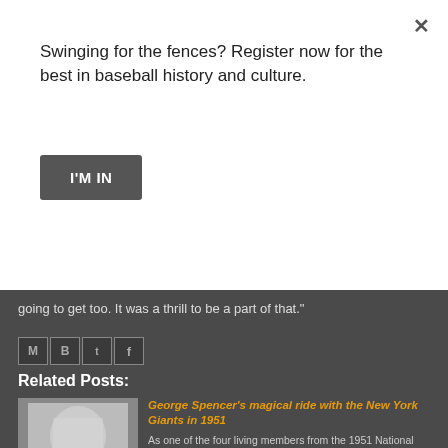Swinging for the fences? Register now for the best in baseball history and culture.
I'M IN
going to get too. It was a thrill to be a part of that."
Related Posts:
[Figure (photo): Black and white photo of George Spencer with autograph]
George Spencer's magical ride with the New York Giants in 1951 As one of the four living members from the 1951 National League champion New York Giants, former relief pitcher George Spencer can speak with candor about his playing career and the current state of baseball. "My playing day...
Read More
← Newer Post
Home
Older Post →
0 comments: